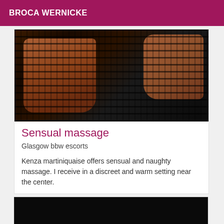BROCA WERNICKE
[Figure (photo): Person wearing black lace/mesh bodysuit lying on a bed, close-up torso view]
Sensual massage
Glasgow bbw escorts
Kenza martiniquaise offers sensual and naughty massage. I receive in a discreet and warm setting near the center.
[Figure (photo): Mostly black/dark image, partial second listing photo]